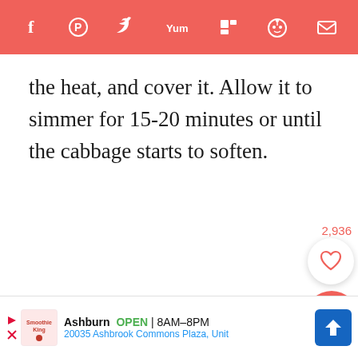Social sharing bar with icons: Facebook, Pinterest, Twitter, Yummly, Flipboard, Reddit, Email
the heat, and cover it. Allow it to simmer for 15-20 minutes or until the cabbage starts to soften.
[Figure (other): Like/heart button with count 2,936 and search button, scroll-to-top button]
[Figure (other): Advertisement banner: Smoothie King, Ashburn OPEN 8AM-8PM, 20035 Ashbrook Commons Plaza, Unit, with navigation arrow icon]